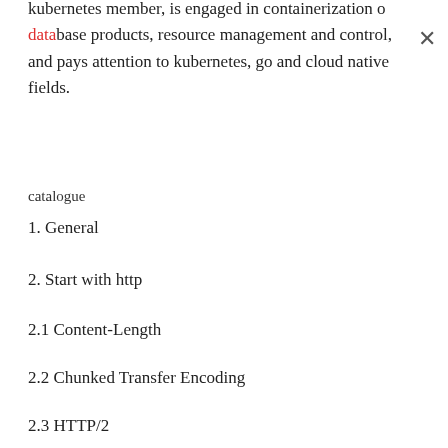kubernetes member, is engaged in containerization of database products, resource management and control, and pays attention to kubernetes, go and cloud native fields.
catalogue
1. General
2. Start with http
2.1 Content-Length
2.2 Chunked Transfer Encoding
2.3 HTTP/2